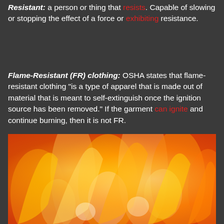Resistant: a person or thing that resists. Capable of slowing or stopping the effect of a force or exhibiting resistance.
Flame-Resistant (FR) clothing: OSHA states that flame-resistant clothing "is a type of apparel that is made out of material that is meant to self-extinguish once the ignition source has been removed." If the garment can ignite and continue burning, then it is not FR.
[Figure (photo): Close-up photograph of bright orange and yellow flames filling the entire frame]